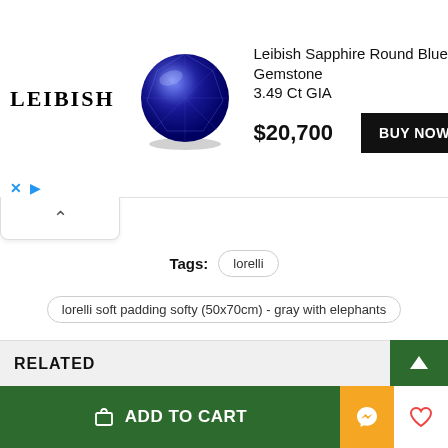[Figure (advertisement): Leibish advertisement banner with logo, blue sapphire gemstone image, product title, price, and buy now button]
Tags: lorelli
lorelli soft padding softy (50x70cm) - gray with elephants
easier changing
for babies
baby pad
RELATED